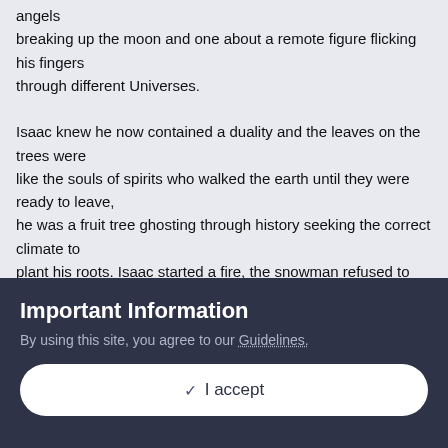angels
breaking up the moon and one about a remote figure flicking his fingers
through different Universes.

Isaac knew he now contained a duality and the leaves on the trees were
like the souls of spirits who walked the earth until they were ready to leave,
he was a fruit tree ghosting through history seeking the correct climate to
plant his roots. Isaac started a fire, the snowman refused to melt, false
prophets had fallen right through history, two sets of green eyes could see
them in the flames. Clouds above were like prayers, Isaac took a
Important Information
By using this site, you agree to our Guidelines.
✓  I accept